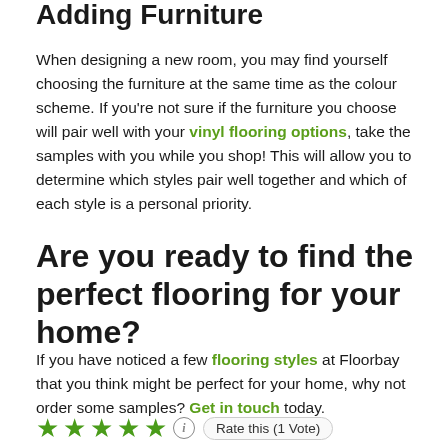Adding Furniture
When designing a new room, you may find yourself choosing the furniture at the same time as the colour scheme. If you're not sure if the furniture you choose will pair well with your vinyl flooring options, take the samples with you while you shop! This will allow you to determine which styles pair well together and which of each style is a personal priority.
Are you ready to find the perfect flooring for your home?
If you have noticed a few flooring styles at Floorbay that you think might be perfect for your home, why not order some samples? Get in touch today.
★★★★★ ℹ Rate this (1 Vote)